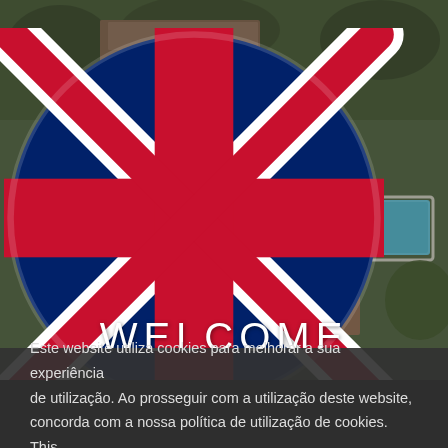[Figure (photo): Aerial drone photograph of a rural estate/quinta with terracotta-roofed buildings, green trees, a swimming pool in the upper right, and surrounding gardens. Semi-transparent dark overlay.]
WELCOME
Este website utiliza cookies para melhorar a sua experiência de utilização. Ao prosseguir com a utilização deste website, concorda com a nossa política de utilização de cookies. This